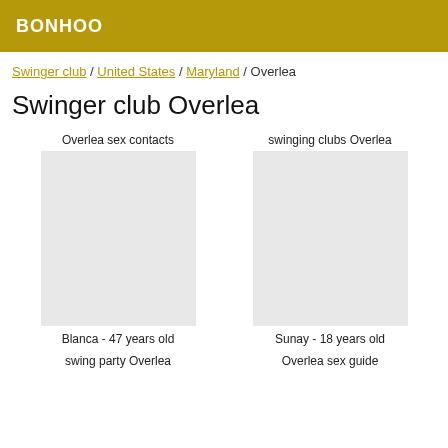BONHOO
Swinger club / United States / Maryland / Overlea
Swinger club Overlea
Overlea sex contacts
swinging clubs Overlea
Blanca - 47 years old
Sunay - 18 years old
swing party Overlea
Overlea sex guide